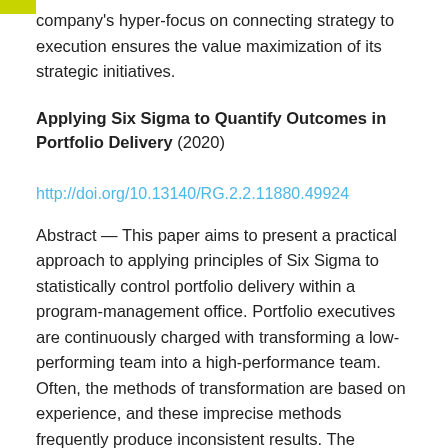company's hyper-focus on connecting strategy to execution ensures the value maximization of its strategic initiatives.
Applying Six Sigma to Quantify Outcomes in Portfolio Delivery (2020)
http://doi.org/10.13140/RG.2.2.11880.49924
Abstract — This paper aims to present a practical approach to applying principles of Six Sigma to statistically control portfolio delivery within a program-management office. Portfolio executives are continuously charged with transforming a low-performing team into a high-performance team. Often, the methods of transformation are based on experience, and these imprecise methods frequently produce inconsistent results. The transformation from a low-performing team to a high-performing team can be